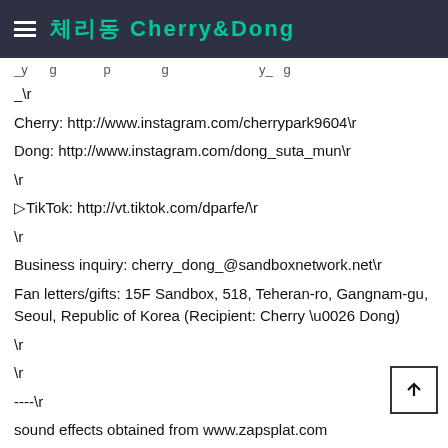체리동 Cherry&Dong
_\r
Cherry: http://www.instagram.com/cherrypark9604\r
Dong: http://www.instagram.com/dong_suta_mun\r
\r
▷TikTok: http://vt.tiktok.com/dparfe/\r
\r
Business inquiry: cherry_dong_@sandboxnetwork.net\r
Fan letters/gifts: 15F Sandbox, 518, Teheran-ro, Gangnam-gu, Seoul, Republic of Korea (Recipient: Cherry \u0026 Dong)
\r
\r
----\r
sound effects obtained from www.zapsplat.com
체리동 (Cherry & Dong) : 구독과 좋아요 부탁해!
Where I bought these swimsuits